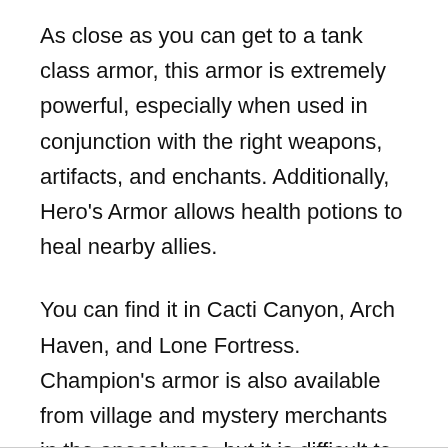As close as you can get to a tank class armor, this armor is extremely powerful, especially when used in conjunction with the right weapons, artifacts, and enchants. Additionally, Hero's Armor allows health potions to heal nearby allies.
You can find it in Cacti Canyon, Arch Haven, and Lone Fortress. Champion's armor is also available from village and mystery merchants in the apocalypse, but it is difficult to find.
20.  Phantom Armor